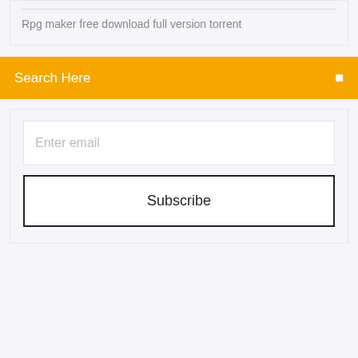Rpg maker free download full version torrent
Search Here
Enter email
Subscribe